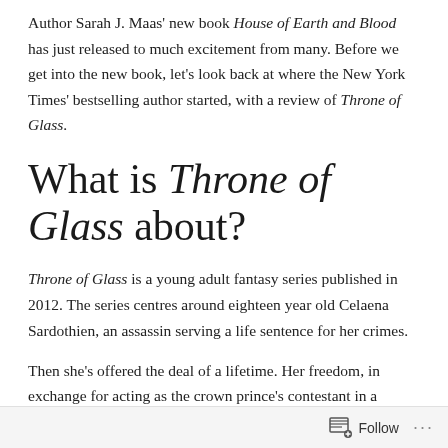Author Sarah J. Maas' new book House of Earth and Blood has just released to much excitement from many. Before we get into the new book, let's look back at where the New York Times' bestselling author started, with a review of Throne of Glass.
What is Throne of Glass about?
Throne of Glass is a young adult fantasy series published in 2012. The series centres around eighteen year old Celaena Sardothien, an assassin serving a life sentence for her crimes.
Then she's offered the deal of a lifetime. Her freedom, in exchange for acting as the crown prince's contestant in a
Follow ···